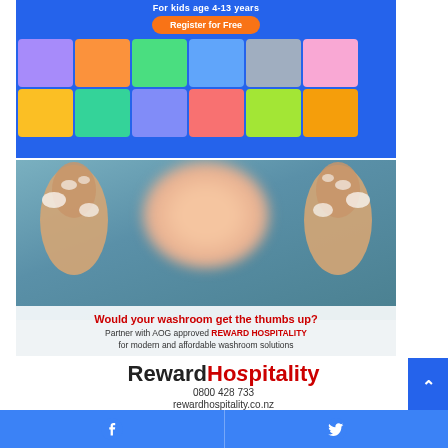[Figure (screenshot): Top blue banner advertisement for kids educational games platform. Text reads 'For kids age 4-13 years' with an orange 'Register for Free' button and a grid of colorful game tiles below.]
[Figure (photo): Advertisement photo showing a person with soapy hands giving two thumbs up, blurred face in background. Overlay text: 'Would your washroom get the thumbs up? Partner with AOG approved REWARD HOSPITALITY for modern and affordable washroom solutions']
[Figure (logo): Reward Hospitality logo with 'Reward' in dark/black and 'Hospitality' in red, followed by phone number 0800 428 733 and website rewardhospitality.co.nz]
[Figure (infographic): Bottom blue social media footer bar with Facebook and Twitter icons]